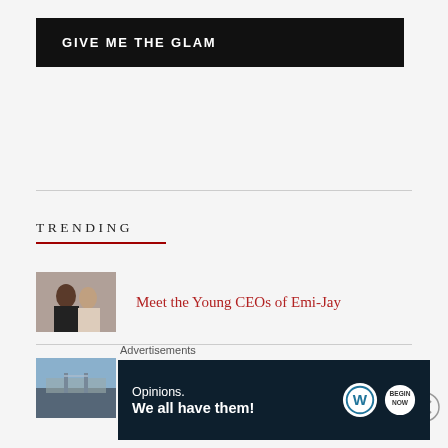GIVE ME THE GLAM
TRENDING
Meet the Young CEOs of Emi-Jay
How to Intern at SNL
Advertisements
[Figure (infographic): WordPress advertisement banner: 'Opinions. We all have them!' with WordPress logo and another circular icon on dark navy background]